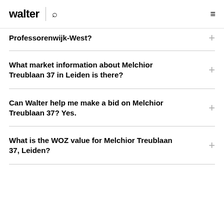walter
Professorenwijk-West?
What market information about Melchior Treublaan 37 in Leiden is there?
Can Walter help me make a bid on Melchior Treublaan 37? Yes.
What is the WOZ value for Melchior Treublaan 37, Leiden?